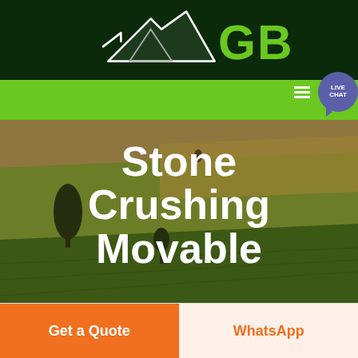[Figure (logo): GBM logo with mountain/arrow graphic and green GBM text on dark green background header]
[Figure (screenshot): Green navigation bar with hamburger menu icon and LIVE CHAT speech bubble button on the right]
[Figure (photo): Aerial photo of rolling green and golden agricultural fields with a single tree, overlaid with large white bold text reading Stone Crushing Movable]
Stone Crushing Movable
[Figure (infographic): Two buttons at bottom: orange Get a Quote button on left, and cream/white WhatsApp button with orange text on right]